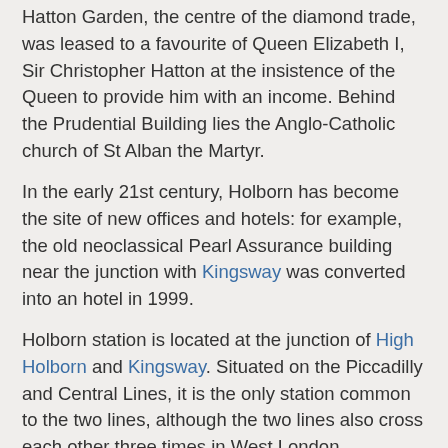Hatton Garden, the centre of the diamond trade, was leased to a favourite of Queen Elizabeth I, Sir Christopher Hatton at the insistence of the Queen to provide him with an income. Behind the Prudential Building lies the Anglo-Catholic church of St Alban the Martyr.
In the early 21st century, Holborn has become the site of new offices and hotels: for example, the old neoclassical Pearl Assurance building near the junction with Kingsway was converted into an hotel in 1999.
Holborn station is located at the junction of High Holborn and Kingsway. Situated on the Piccadilly and Central Lines, it is the only station common to the two lines, although the two lines also cross each other three times in West London.
The station was opened by the Great Northern, Piccadilly and Brompton Railway (GNP&BR, now the Piccadilly Line) on 15 December 1906 with the name Holborn (Kingsway).